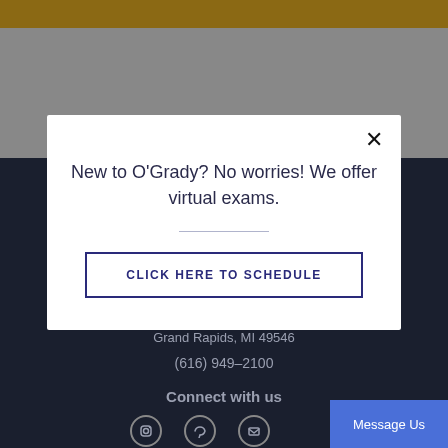[Figure (screenshot): Screenshot of a medical practice website (O'Grady) showing a modal popup dialog over a dark-themed webpage footer. The modal asks about virtual exams for new patients and includes a schedule button.]
Grand Rapids, MI 49546
(616) 949–2100
Connect with us
New to O'Grady? No worries! We offer virtual exams.
CLICK HERE TO SCHEDULE
Message Us